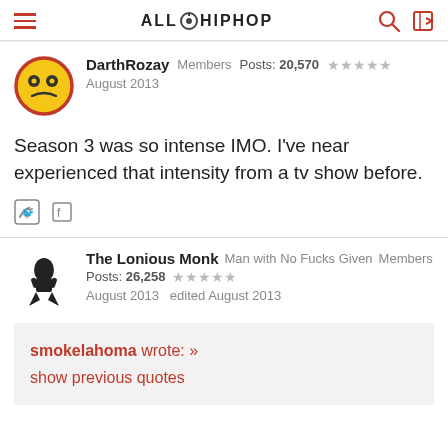ALLHIPHOP
DarthRozay  Members  Posts: 20,570  ★★★★★
August 2013
Season 3 was so intense IMO. I've near experienced that intensity from a tv show before.
The Lonious Monk  Man with No Fucks Given  Members  Posts: 26,258  ★★★★★
August 2013  edited August 2013
smokelahoma wrote: »
show previous quotes